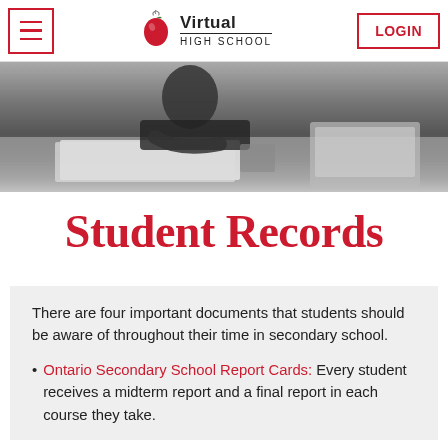Virtual High School — LOGIN
[Figure (photo): Black and white photo of a student working at a desk with papers and a laptop in a classroom setting]
Student Records
There are four important documents that students should be aware of throughout their time in secondary school.
Ontario Secondary School Report Cards: Every student receives a midterm report and a final report in each course they take.